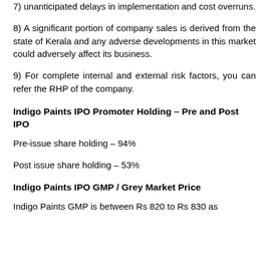7) unanticipated delays in implementation and cost overruns.
8) A significant portion of company sales is derived from the state of Kerala and any adverse developments in this market could adversely affect its business.
9) For complete internal and external risk factors, you can refer the RHP of the company.
Indigo Paints IPO Promoter Holding – Pre and Post IPO
Pre-issue share holding – 94%
Post issue share holding – 53%
Indigo Paints IPO GMP / Grey Market Price
Indigo Paints GMP is between Rs 820 to Rs 830 as